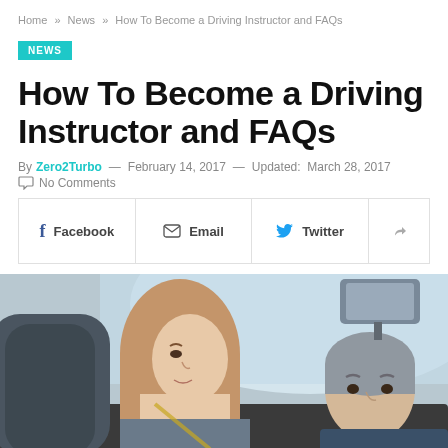Home » News » How To Become a Driving Instructor and FAQs
NEWS
How To Become a Driving Instructor and FAQs
By Zero2Turbo — February 14, 2017 — Updated: March 28, 2017
No Comments
Facebook  Email  Twitter
[Figure (photo): A young woman in the passenger seat and an older man driving, viewed from inside a car interior, with bright daylight visible through the windshield.]